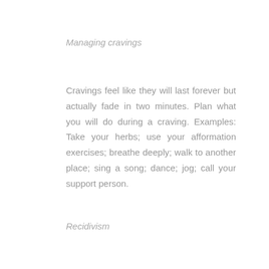Managing cravings
Cravings feel like they will last forever but actually fade in two minutes. Plan what you will do during a craving. Examples: Take your herbs; use your afformation exercises; breathe deeply; walk to another place; sing a song; dance; jog; call your support person.
Recidivism